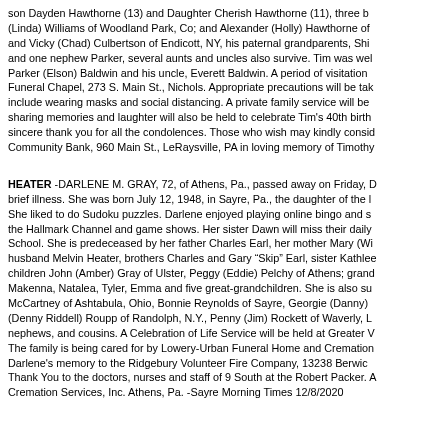son Dayden Hawthorne (13) and Daughter Cherish Hawthorne (11), three b... (Linda) Williams of Woodland Park, Co; and Alexander (Holly) Hawthorne o... and Vicky (Chad) Culbertson of Endicott, NY, his paternal grandparents, Shi... and one nephew Parker, several aunts and uncles also survive. Tim was wel... Parker (Elson) Baldwin and his uncle, Everett Baldwin. A period of visitation ... Funeral Chapel, 273 S. Main St., Nichols. Appropriate precautions will be tak... include wearing masks and social distancing. A private family service will be... sharing memories and laughter will also be held to celebrate Tim's 40th birt... sincere thank you for all the condolences. Those who wish may kindly consi... Community Bank, 960 Main St., LeRaysville, PA in loving memory of Timothy...
HEATER -DARLENE M. GRAY, 72, of Athens, Pa., passed away on Friday, D... brief illness. She was born July 12, 1948, in Sayre, Pa., the daughter of the l... She liked to do Sudoku puzzles. Darlene enjoyed playing online bingo and s... the Hallmark Channel and game shows. Her sister Dawn will miss their daily ... School. She is predeceased by her father Charles Earl, her mother Mary (Wi... husband Melvin Heater, brothers Charles and Gary "Skip" Earl, sister Kathle... children John (Amber) Gray of Ulster, Peggy (Eddie) Pelchy of Athens; gran... Makenna, Natalea, Tyler, Emma and five great-grandchildren. She is also su... McCartney of Ashtabula, Ohio, Bonnie Reynolds of Sayre, Georgie (Danny)... (Denny Riddell) Roupp of Randolph, N.Y., Penny (Jim) Rockett of Waverly, L... nephews, and cousins. A Celebration of Life Service will be held at Greater V... The family is being cared for by Lowery-Urban Funeral Home and Crematio... Darlene's memory to the Ridgebury Volunteer Fire Company, 13238 Berwic... Thank You to the doctors, nurses and staff of 9 South at the Robert Packer. A... Cremation Services, Inc. Athens, Pa. -Sayre Morning Times 12/8/2020